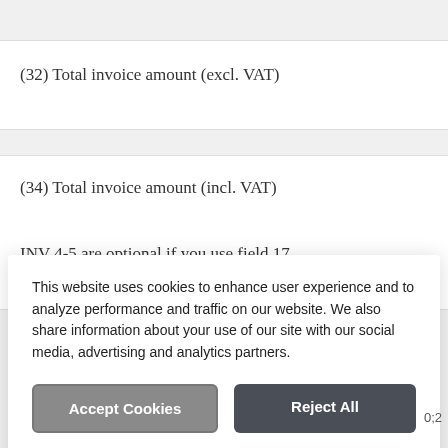(32) Total invoice amount (excl. VAT)
(34) Total invoice amount (incl. VAT)
INV 4-5 are optional if you use field 17
This website uses cookies to enhance user experience and to analyze performance and traffic on our website. We also share information about your use of our site with our social media, advertising and analytics partners.
Accept Cookies
Reject All
Do Not Sell My Personal Information